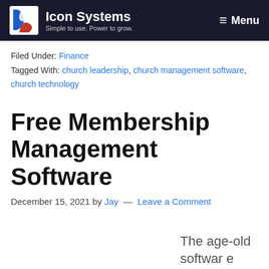Icon Systems — Simple to use. Power to grow. Menu
Filed Under: Finance
Tagged With: church leadership, church management software, church technology
Free Membership Management Software
December 15, 2021 by Jay — Leave a Comment
The age-old software